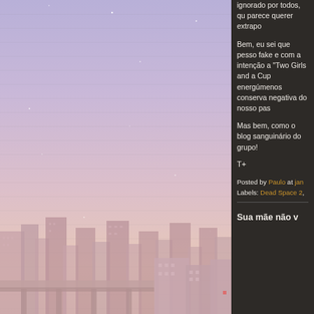[Figure (illustration): Illustrated city skyline at dusk with pastel purple-pink gradient sky and stylized buildings silhouettes in the lower portion, stars scattered in the sky.]
ignorado por todos, qu parece querer extrapo
Bem, eu sei que pesso fake e com a intenção a "Two Girls and a Cup energúmenos conserva negativa do nosso pas
Mas bem, como o blog sanguinário do grupo!
T+
Posted by Paulo at jan
Labels: Dead Space 2,
Sua mãe não v